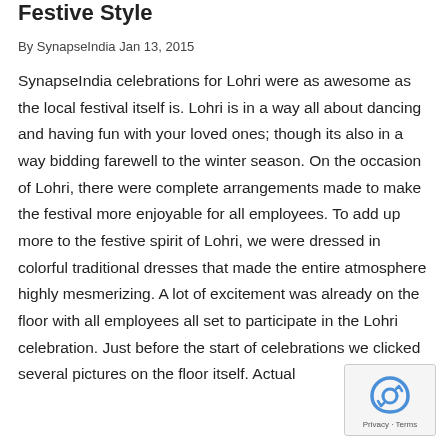Festive Style
By SynapseIndia Jan 13, 2015
SynapseIndia celebrations for Lohri were as awesome as the local festival itself is. Lohri is in a way all about dancing and having fun with your loved ones; though its also in a way bidding farewell to the winter season. On the occasion of Lohri, there were complete arrangements made to make the festival more enjoyable for all employees. To add up more to the festive spirit of Lohri, we were dressed in colorful traditional dresses that made the entire atmosphere highly mesmerizing. A lot of excitement was already on the floor with all employees all set to participate in the Lohri celebration. Just before the start of celebrations we clicked several pictures on the floor itself. Actual